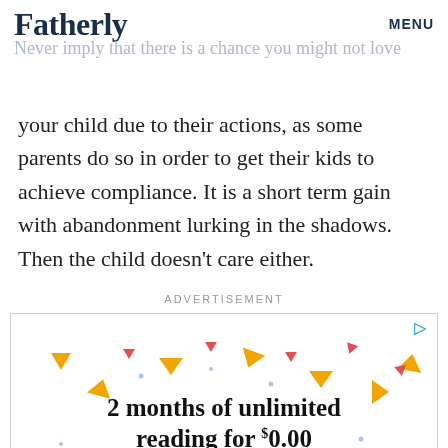Fatherly   MENU
Never imply that there is a chance you might not love your child due to their actions, as some parents do so in order to get their kids to achieve compliance. It is a short term gain with abandonment lurking in the shadows. Then the child doesn't care either.
ADVERTISEMENT
[Figure (infographic): Amazon Kindle Unlimited advertisement: '2 months of unlimited reading for $0.00' with kindleunlimited branding and colorful confetti/triangle decorations]